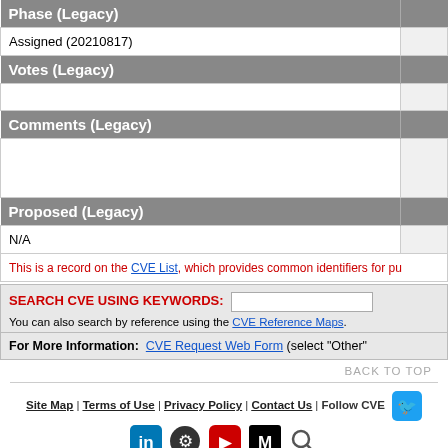| Phase (Legacy) |  |
| --- | --- |
| Assigned (20210817) |  |
| Votes (Legacy) |  |
| --- | --- |
|  |  |
| Comments (Legacy) |  |
| --- | --- |
|  |  |
| Proposed (Legacy) |  |
| --- | --- |
| N/A |  |
This is a record on the CVE List, which provides common identifiers for pu
SEARCH CVE USING KEYWORDS:
You can also search by reference using the CVE Reference Maps.
For More Information: CVE Request Web Form (select "Other"
BACK TO TOP
Site Map | Terms of Use | Privacy Policy | Contact Us | Follow CVE
Use of the CVE® List and the associated references from this website are subject to the terms of use. CVE is sponsored by the U.S. Department of Homeland